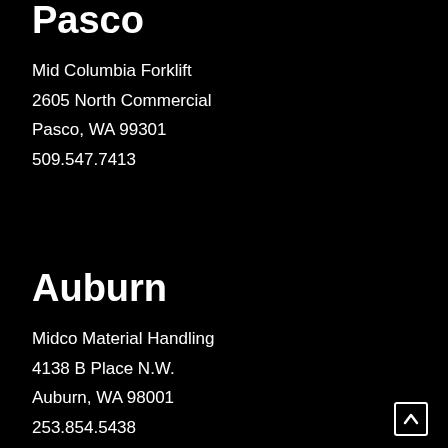Pasco
Mid Columbia Forklift
2605 North Commercial
Pasco, WA 99301
509.547.7413
Auburn
Midco Material Handling
4138 B Place N.W.
Auburn, WA 98001
253.854.5438